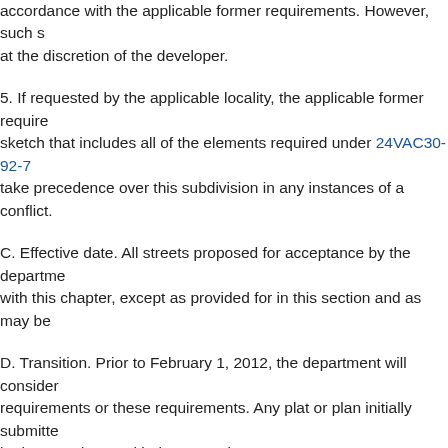accordance with the applicable former requirements. However, such s at the discretion of the developer.
5. If requested by the applicable locality, the applicable former require sketch that includes all of the elements required under 24VAC30-92-7 take precedence over this subdivision in any instances of a conflict.
C. Effective date. All streets proposed for acceptance by the departme with this chapter, except as provided for in this section and as may be
D. Transition. Prior to February 1, 2012, the department will consider requirements or these requirements. Any plat or plan initially submitte be in accordance with these requirements.
24VAC30-92-60. Public benefit requirements.
A. Public benefit. A street or network addition may only be accepted b highways if it provides sufficient public benefit to justify perpetual pub provide sufficient public benefit if it meets or exceeds the public servi
B. Public service requirements. In the event the governing body reque service provisions, the district administrator will review each request o normal service requirements is justified, provided the street or netwo